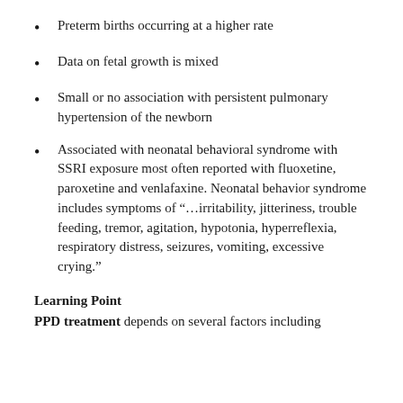Preterm births occurring at a higher rate
Data on fetal growth is mixed
Small or no association with persistent pulmonary hypertension of the newborn
Associated with neonatal behavioral syndrome with SSRI exposure most often reported with fluoxetine, paroxetine and venlafaxine. Neonatal behavior syndrome includes symptoms of “…irritability, jitteriness, trouble feeding, tremor, agitation, hypotonia, hyperreflexia, respiratory distress, seizures, vomiting, excessive crying.”
Learning Point
PPD treatment depends on several factors including